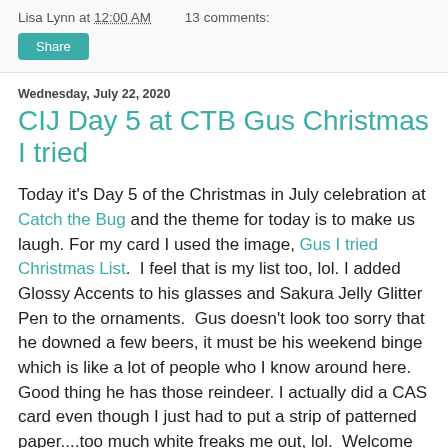Lisa Lynn at 12:00 AM   13 comments:
Share
Wednesday, July 22, 2020
CIJ Day 5 at CTB Gus Christmas I tried
Today it's Day 5 of the Christmas in July celebration at Catch the Bug and the theme for today is to make us laugh. For my card I used the image, Gus I tried Christmas List.  I feel that is my list too, lol. I added Glossy Accents to his glasses and Sakura Jelly Glitter Pen to the ornaments.  Gus doesn't look too sorry that he downed a few beers, it must be his weekend binge which is like a lot of people who I know around here. Good thing he has those reindeer. I actually did a CAS card even though I just had to put a strip of patterned paper....too much white freaks me out, lol.  Welcome to A. Rose my new follower who I have seen on both my design teams and she has lots of great creations.
I am showing a sample card for Julie's that she has a Santa having a summer drink to relax that she made back in 2014